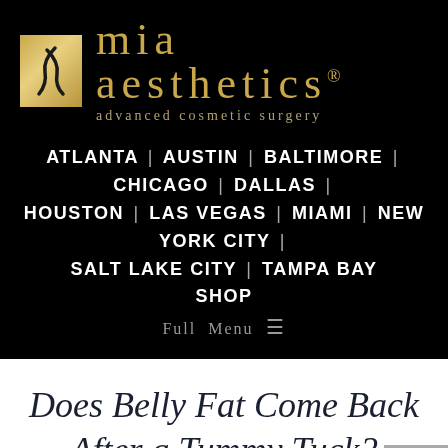[Figure (logo): Mia Aesthetics advanced cosmetic surgery logo — black background with gold stylized letter icon and gold text 'mia aesthetics' with subtitle 'advanced cosmetic surgery']
ATLANTA | AUSTIN | BALTIMORE | CHICAGO | DALLAS | HOUSTON | LAS VEGAS | MIAMI | NEW YORK CITY | SALT LAKE CITY | TAMPA BAY
SHOP
Full Menu ≡
Does Belly Fat Come Back After a Tummy Tuck?